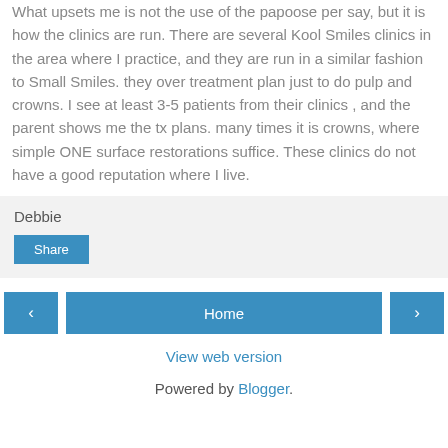What upsets me is not the use of the papoose per say, but it is how the clinics are run. There are several Kool Smiles clinics in the area where I practice, and they are run in a similar fashion to Small Smiles. they over treatment plan just to do pulp and crowns. I see at least 3-5 patients from their clinics , and the parent shows me the tx plans. many times it is crowns, where simple ONE surface restorations suffice. These clinics do not have a good reputation where I live.
Debbie
Share
Home
View web version
Powered by Blogger.